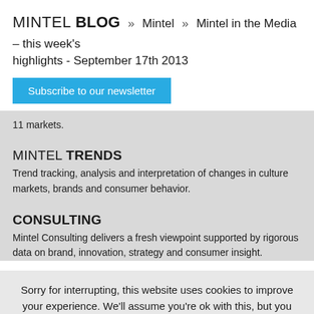MINTEL BLOG » Mintel » Mintel in the Media – this week's highlights - September 17th 2013
[Figure (other): Blue 'Subscribe to our newsletter' button]
11 markets.
MINTEL TRENDS
Trend tracking, analysis and interpretation of changes in culture markets, brands and consumer behavior.
CONSULTING
Mintel Consulting delivers a fresh viewpoint supported by rigorous data on brand, innovation, strategy and consumer insight.
Sorry for interrupting, this website uses cookies to improve your experience. We'll assume you're ok with this, but you can opt-out if you wish.